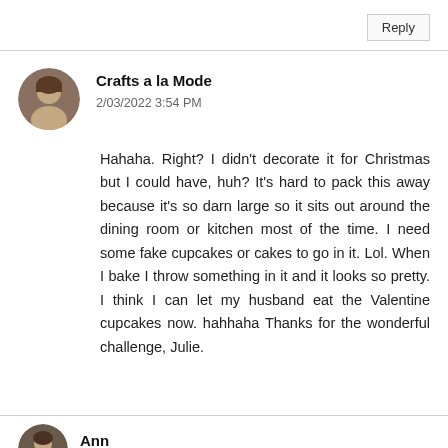Reply
Crafts a la Mode
2/03/2022 3:54 PM
Hahaha. Right? I didn't decorate it for Christmas but I could have, huh? It's hard to pack this away because it's so darn large so it sits out around the dining room or kitchen most of the time. I need some fake cupcakes or cakes to go in it. Lol. When I bake I throw something in it and it looks so pretty. I think I can let my husband eat the Valentine cupcakes now. hahhaha Thanks for the wonderful challenge, Julie.
Ann